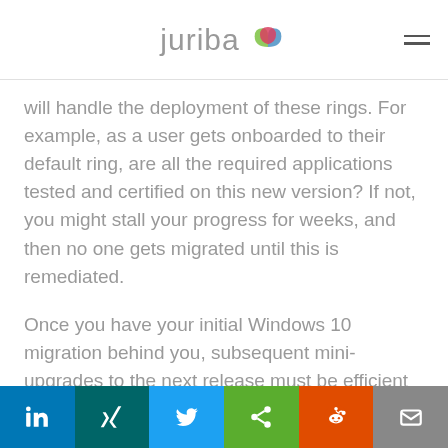juriba
will handle the deployment of these rings. For example, as a user gets onboarded to their default ring, are all the required applications tested and certified on this new version? If not, you might stall your progress for weeks, and then no one gets migrated until this is remediated.
Once you have your initial Windows 10 migration behind you, subsequent mini-upgrades to the next release must be efficient and swift. You need to prioritize based on the
LinkedIn | Xing | Twitter | Share | Reddit | Email